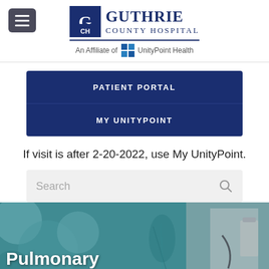[Figure (logo): Guthrie County Hospital logo with menu button and UnityPoint Health affiliate text]
PATIENT PORTAL
MY UNITYPOINT
If visit is after 2-20-2022, use My UnityPoint.
[Figure (screenshot): Search bar with placeholder text 'Search' and magnifying glass icon]
[Figure (photo): Hero image of medical professional with stethoscope, teal/blue bokeh background, with 'Pulmonary Rehabilitation' text overlay]